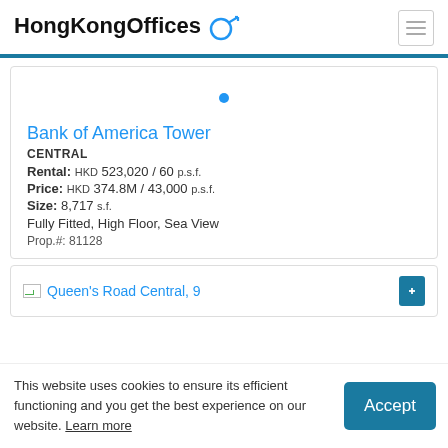HongKongOffices
Bank of America Tower
CENTRAL
Rental: HKD 523,020 / 60 p.s.f.
Price: HKD 374.8M / 43,000 p.s.f.
Size: 8,717 s.f.
Fully Fitted, High Floor, Sea View
Prop.#: 81128
Queen's Road Central, 9
This website uses cookies to ensure its efficient functioning and you get the best experience on our website. Learn more